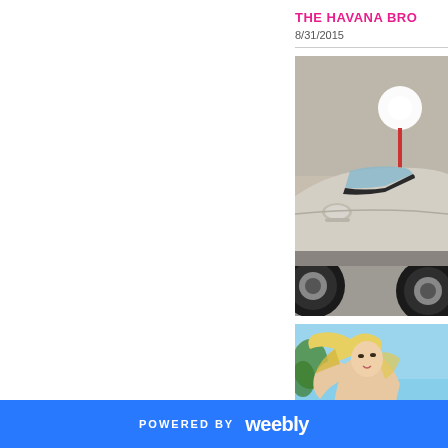THE HAVANA BRO
8/31/2015
[Figure (photo): Close-up photo of a silver/beige luxury car showing the roof, windshield, side mirror and wheel in a garage-like setting with a bright light in the background]
[Figure (photo): Photo of a blonde woman with windswept hair against a light blue sky background]
POWERED BY weebly